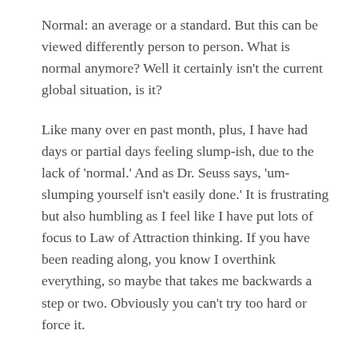Normal: an average or a standard. But this can be viewed differently person to person. What is normal anymore? Well it certainly isn't the current global situation, is it?
Like many over en past month, plus, I have had days or partial days feeling slump-ish, due to the lack of 'normal.' And as Dr. Seuss says, 'um-slumping yourself isn't easily done.' It is frustrating but also humbling as I feel like I have put lots of focus to Law of Attraction thinking. If you have been reading along, you know I overthink everything, so maybe that takes me backwards a step or two. Obviously you can't try too hard or force it.
A big learning with the Law of Attraction, is don't give attention to that which you don't want more of. The